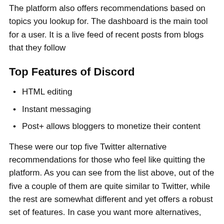The platform also offers recommendations based on topics you lookup for. The dashboard is the main tool for a user. It is a live feed of recent posts from blogs that they follow
Top Features of Discord
HTML editing
Instant messaging
Post+ allows bloggers to monetize their content
These were our top five Twitter alternative recommendations for those who feel like quitting the platform. As you can see from the list above, out of the five a couple of them are quite similar to Twitter, while the rest are somewhat different and yet offers a robust set of features. In case you want more alternatives, you